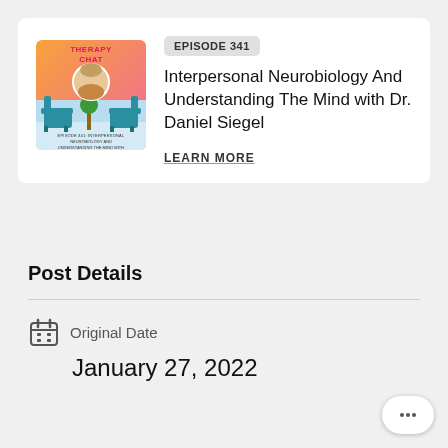[Figure (illustration): Therapy Chat podcast cover art with pink/orange background, teal chairs, and person's portrait in center. Text reads THERAPY CHAT and episode details.]
EPISODE 341
Interpersonal Neurobiology And Understanding The Mind with Dr. Daniel Siegel
LEARN MORE
Post Details
Original Date
January 27, 2022